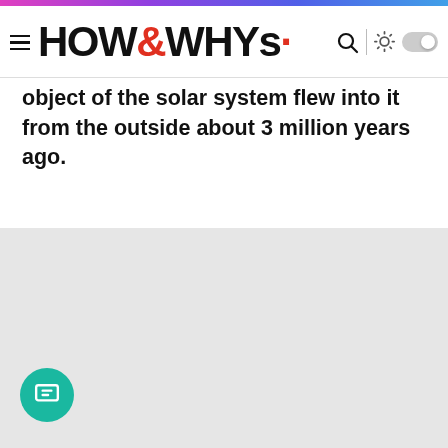HOW&WHYs
object of the solar system flew into it from the outside about 3 million years ago.
[Figure (other): Gray placeholder area below article text, likely an image area that has not loaded]